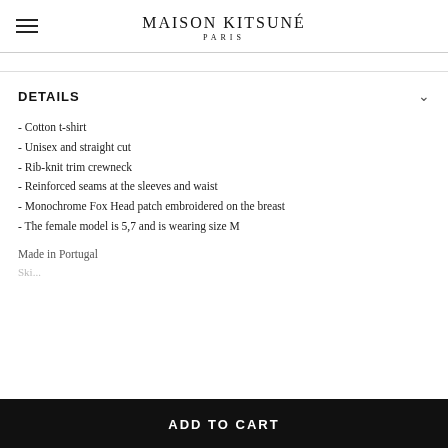MAISON KITSUNÉ PARIS
DETAILS
- Cotton t-shirt
- Unisex and straight cut
- Rib-knit trim crewneck
- Reinforced seams at the sleeves and waist
- Monochrome Fox Head patch embroidered on the breast
- The female model is 5,7 and is wearing size M
Made in Portugal
ADD TO CART